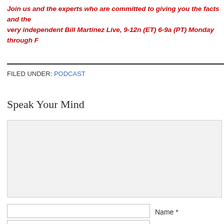Join us and the experts who are committed to giving you the facts and the very independent Bill Martinez Live, 9-12n (ET) 6-9a (PT) Monday through F
FILED UNDER: PODCAST
Speak Your Mind
[comment text area]
Name *
Email *